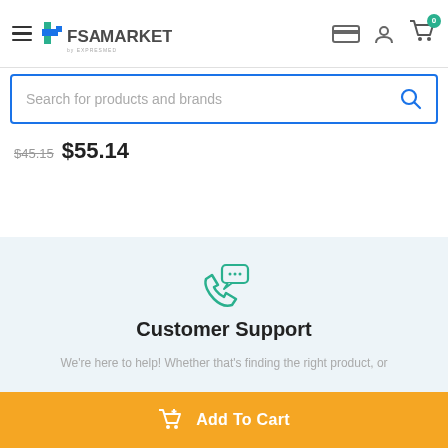FSA MARKET by EXPRESMED — navigation header with hamburger menu, logo, card icon, account icon, and cart (0)
Search for products and brands
$45.15  $55.14
[Figure (illustration): Green phone with chat bubbles customer support icon]
Customer Support
We're here to help! Whether that's finding the right product, or...
Add To Cart